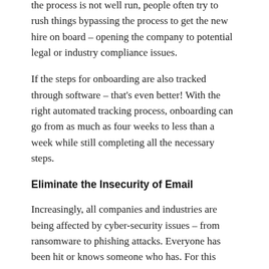the process is not well run, people often try to rush things bypassing the process to get the new hire on board – opening the company to potential legal or industry compliance issues.
If the steps for onboarding are also tracked through software – that's even better! With the right automated tracking process, onboarding can go from as much as four weeks to less than a week while still completing all the necessary steps.
Eliminate the Insecurity of Email
Increasingly, all companies and industries are being affected by cyber-security issues – from ransomware to phishing attacks. Everyone has been hit or knows someone who has. For this reason, industry compliance frameworks like HIPAA, FINRA, and NIST CSF, are limiting companies' ability to use email to onboard new